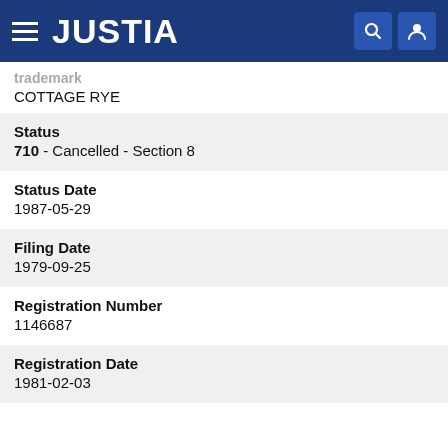JUSTIA
COTTAGE RYE
Status
710 - Cancelled - Section 8
Status Date
1987-05-29
Filing Date
1979-09-25
Registration Number
1146687
Registration Date
1981-02-03